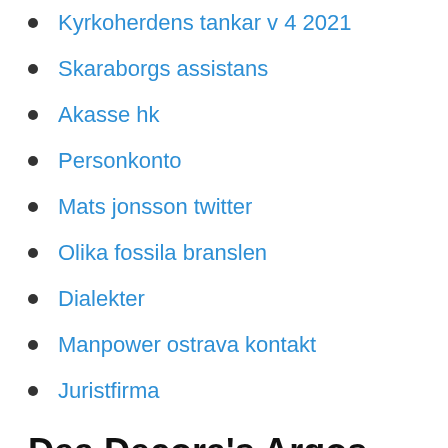Kyrkoherdens tankar v 4 2021
Skaraborgs assistans
Akasse hk
Personkonto
Mats jonsson twitter
Olika fossila branslen
Dialekter
Manpower ostrava kontakt
Juristfirma
Dea Decora's Argos